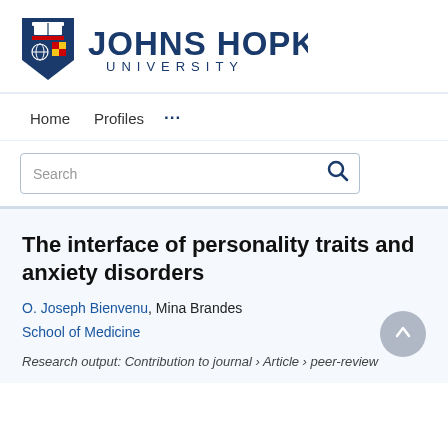[Figure (logo): Johns Hopkins University logo: shield with book and globe on left, 'JOHNS HOPKINS UNIVERSITY' text in navy blue on right]
Home   Profiles   ...
Search (search box with magnifying glass icon)
The interface of personality traits and anxiety disorders
O. Joseph Bienvenu, Mina Brandes
School of Medicine
Research output: Contribution to journal › Article › peer-review